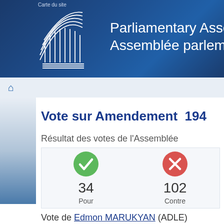Carte du site
[Figure (logo): Council of Europe Parliamentary Assembly logo — white architectural/fan lines on dark blue background]
Parliamentary Assembly / Assemblée parlementaire
Vote sur Amendement 194
Résultat des votes de l'Assemblée
| Pour | Contre |
| --- | --- |
| 34 | 102 |
Vote de Edmon MARUKYAN (ADLE)